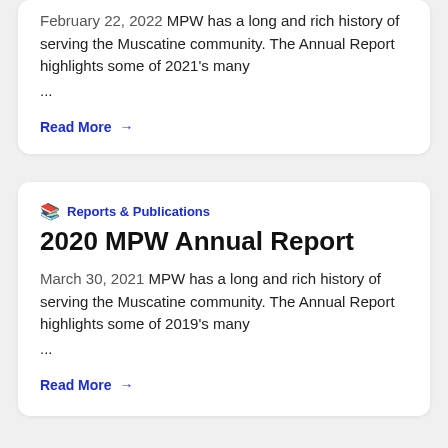February 22, 2022  MPW has a long and rich history of serving the Muscatine community. The Annual Report highlights some of 2021's many ...
Read More →
📚 Reports & Publications
2020 MPW Annual Report
March 30, 2021  MPW has a long and rich history of serving the Muscatine community. The Annual Report highlights some of 2019's many ...
Read More →